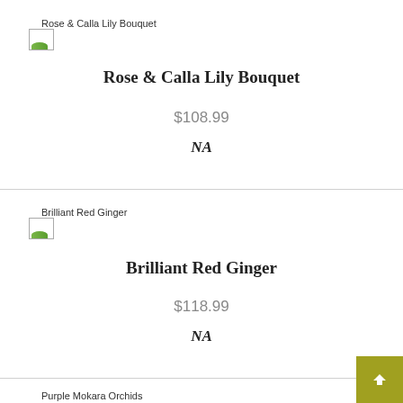[Figure (other): Broken/placeholder image icon for Rose & Calla Lily Bouquet]
Rose & Calla Lily Bouquet
Rose & Calla Lily Bouquet
$108.99
NA
[Figure (other): Broken/placeholder image icon for Brilliant Red Ginger]
Brilliant Red Ginger
Brilliant Red Ginger
$118.99
NA
[Figure (other): Broken/placeholder image icon for Purple Mokara Orchids]
Purple Mokara Orchids
Purple Mokara Orchids
$108.99